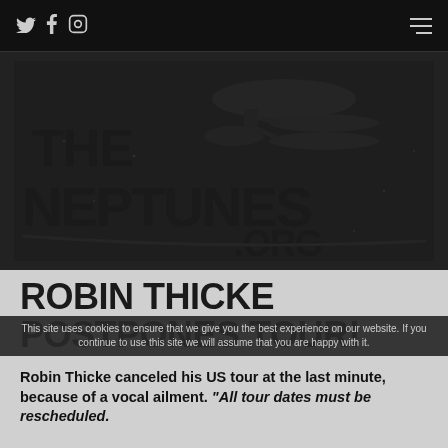Social icons (Twitter, Facebook, Instagram) and hamburger menu
[Figure (logo): The Neptunes .org logo — large bold stylized text 'THE NEPTUNES .ORG' with a Star Trek USS Enterprise silhouette above, dark background]
ROBIN THICKE POSTPONES TOUR!
This site uses cookies to ensure that we give you the best experience on our website. If you continue to use this site we will assume that you are happy with it.
Robin Thicke canceled his US tour at the last minute, because of a vocal ailment. "All tour dates must be rescheduled.